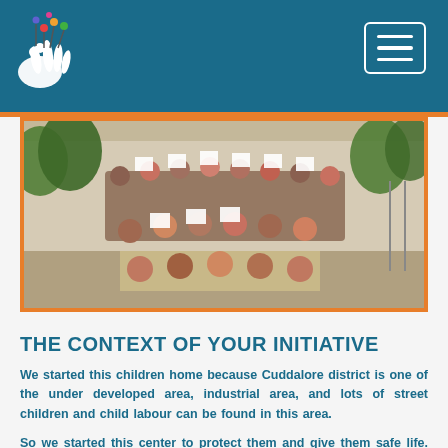[Figure (photo): Group photo of many children holding up papers/signs, seated and standing outdoors in front of a building with trees in background, bordered in orange]
THE CONTEXT OF YOUR INITIATIVE
We started this children home because Cuddalore district is one of the under developed area, industrial area, and lots of street children and child labour can be found in this area.
So we started this center to protect them and give them safe life. Regarding training for women, in our area lots of women do not have proper education and skill training, so we started this project in this center.